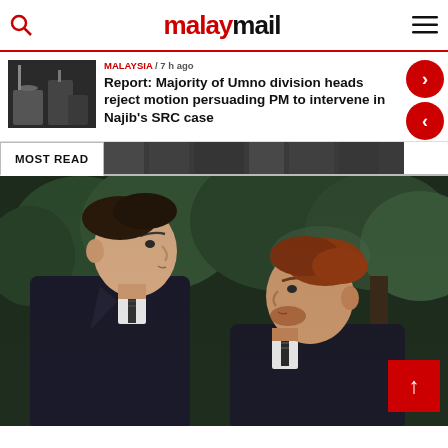malaymail
MALAYSIA / 7 h ago
Report: Majority of Umno division heads reject motion persuading PM to intervene in Najib's SRC case
MOST READ
[Figure (photo): Two men in dark suits walking side by side in profile view, one with dark hair on the left and one with reddish-brown hair on the right, with green trees in the background]